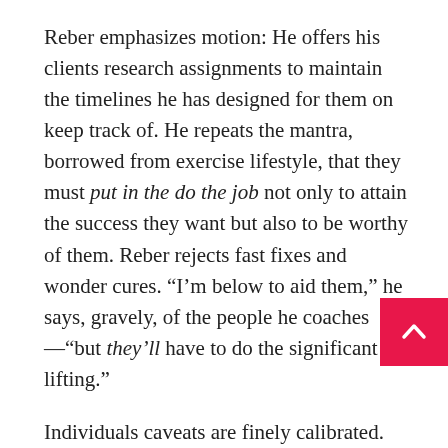Reber emphasizes motion: He offers his clients research assignments to maintain the timelines he has designed for them on keep track of. He repeats the mantra, borrowed from exercise lifestyle, that they must put in the do the job not only to attain the success they want but also to be worthy of them. Reber rejects fast fixes and wonder cures. “I’m below to aid them,” he says, gravely, of the people he coaches—“but they’ll have to do the significant lifting.”
Individuals caveats are finely calibrated. “Help … but” is a message in shape for a time when do-it-by yourself may operate as possibly a assure or a danger. It demonstrates a instant when numerous Individuals are redrawing the line involving self and society—and reconsidering, in system, those people most essential of relationships. In between the citizen and the point out involving the